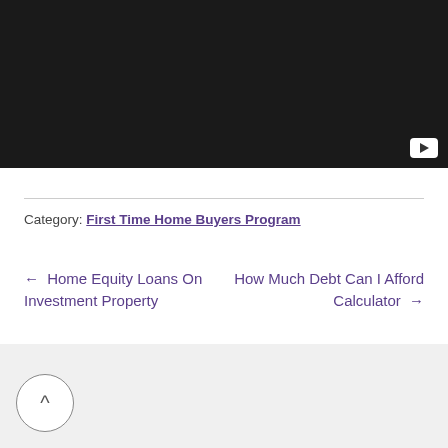[Figure (screenshot): Dark video thumbnail with a YouTube play button in the bottom-right corner]
Category: First Time Home Buyers Program
← Home Equity Loans On Investment Property
How Much Debt Can I Afford Calculator →
[Figure (other): Scroll-to-top button: a circle with an upward caret (^) on a light grey footer bar]